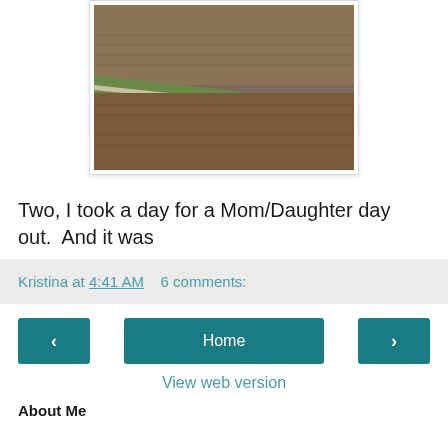[Figure (photo): Aerial or landscape photo of agricultural fields with a road or path cutting diagonally across plowed brown earth and green grass strips]
Two, I took a day for a Mom/Daughter day out.  And it was
Kristina at 4:41 AM   6 comments:
Home
View web version
About Me